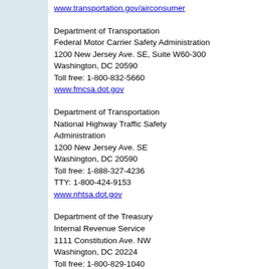www.transportation.gov/airconsumer
Department of Transportation
Federal Motor Carrier Safety Administration
1200 New Jersey Ave. SE, Suite W60-300
Washington, DC 20590
Toll free: 1-800-832-5660
www.fmcsa.dot.gov
Department of Transportation
National Highway Traffic Safety Administration
1200 New Jersey Ave. SE
Washington, DC 20590
Toll free: 1-888-327-4236
TTY: 1-800-424-9153
www.nhtsa.dot.gov
Department of the Treasury
Internal Revenue Service
1111 Constitution Ave. NW
Washington, DC 20224
Toll free: 1-800-829-1040
TTY: 1-800-829-4059
www.irs.gov
Department of Veterans Affairs
810 Vermont Ave. NW
Washington, DC 20420
Toll free: 1-800-827-1000
TTY: 1-800-829-4833